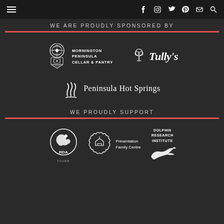navigation header with hamburger menu and social icons: Facebook, Instagram, Twitter, Pinterest, Email, Search
WE ARE PROUDLY SPONSORED BY
[Figure (logo): Mornington Peninsula Cellar & Pantry logo with decorative crest icon]
[Figure (logo): Tully's logo with tree icon]
[Figure (logo): Peninsula Hot Springs logo with steam/flame icon]
WE PROUDLY SUPPORT
[Figure (logo): RDA logo with horse and rider silhouette]
[Figure (logo): Presentation Family Centre logo with house/flower shape]
[Figure (logo): Dolphin Research Institute logo with dolphin]